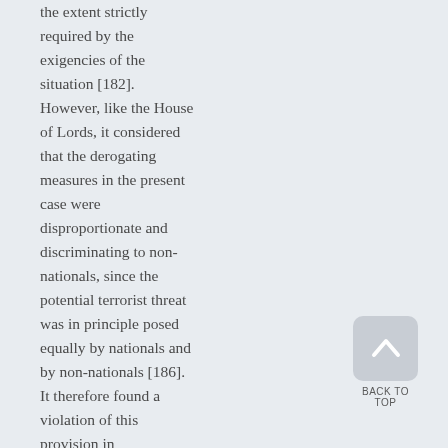the extent strictly required by the exigencies of the situation [182]. However, like the House of Lords, it considered that the derogating measures in the present case were disproportionate and discriminating to non-nationals, since the potential terrorist threat was in principle posed equally by nationals and by non-nationals [186]. It therefore found a violation of this provision in